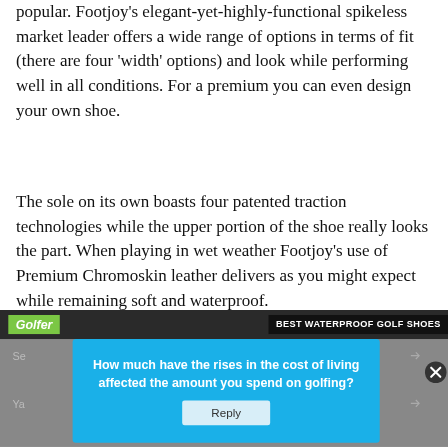popular. Footjoy's elegant-yet-highly-functional spikeless market leader offers a wide range of options in terms of fit (there are four 'width' options) and look while performing well in all conditions. For a premium you can even design your own shoe.
The sole on its own boasts four patented traction technologies while the upper portion of the shoe really looks the part. When playing in wet weather Footjoy's use of Premium Chromoskin leather delivers as you might expect while remaining soft and waterproof.
[Figure (screenshot): Screenshot of a golf magazine website showing a 'Golfer' logo banner with 'BEST WATERPROOF GOLF SHOES' text, overlaid by a blue popup asking 'How much have the rises in the cost of living affected the amount you spend on golfing?' with a Reply button and a close (x) button.]